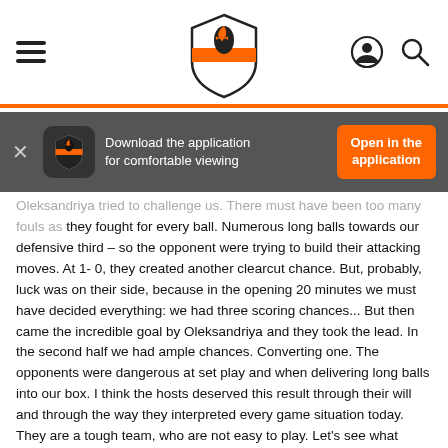Shakhtar Donetsk website header with hamburger menu, logo, user icon, and search icon
Download the application for comfortable viewing
Open in the application
Oleksandriya tried to challenge us. There must have been too many fouls as they fought for every ball. Numerous long balls towards our defensive third – so the opponent were trying to build their attacking moves. At 1- 0, they created another clearcut chance. But, probably, luck was on their side, because in the opening 20 minutes we must have decided everything: we had three scoring chances... But then came the incredible goal by Oleksandriya and they took the lead. In the second half we had ample chances. Converting one. The opponents were dangerous at set play and when delivering long balls into our box. I think the hosts deserved this result through their will and through the way they interpreted every game situation today. They are a tough team, who are not easy to play. Let's see what happens in the second leg. On the whole, I am happy with the outcome.
- Who did you like the most at Oleksandriya? Have you decided where to play the return leg?
- I usually do not single out anyone - neither the hosts nor my players. I am not surprised by the result, which Oleksandriya achieved against Dynamo. They are the team, who are no inferior to others at all, who play based on